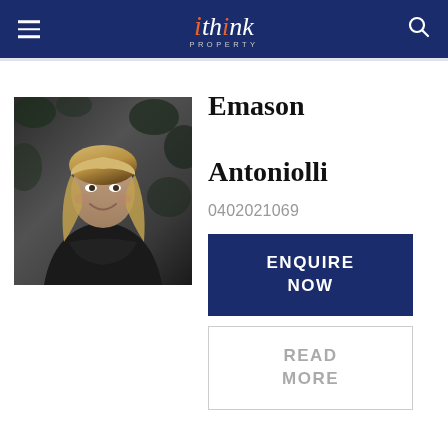ithink PROPERTY
[Figure (photo): Black and white professional headshot of Emason Antoniolli, a young woman with long blonde wavy hair, smiling, with a dark leafy background.]
Emason Antoniolli
0402021069
ENQUIRE NOW
READ MORE